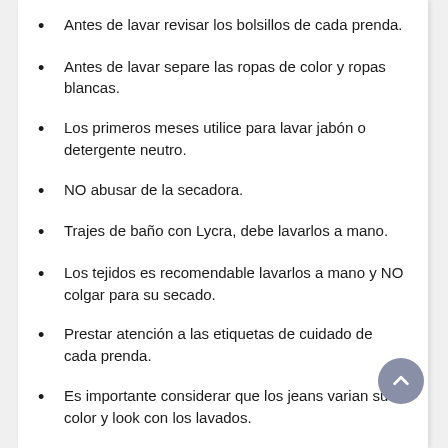Antes de lavar revisar los bolsillos de cada prenda.
Antes de lavar separe las ropas de color y ropas blancas.
Los primeros meses utilice para lavar jabón o detergente neutro.
NO abusar de la secadora.
Trajes de baño con Lycra, debe lavarlos a mano.
Los tejidos es recomendable lavarlos a mano y NO colgar para su secado.
Prestar atención a las etiquetas de cuidado de cada prenda.
Es importante considerar que los jeans varian su color y look con los lavados.
NO planchar los estampados de las prendas
[Figure (illustration): Two small icons at the bottom of the page]